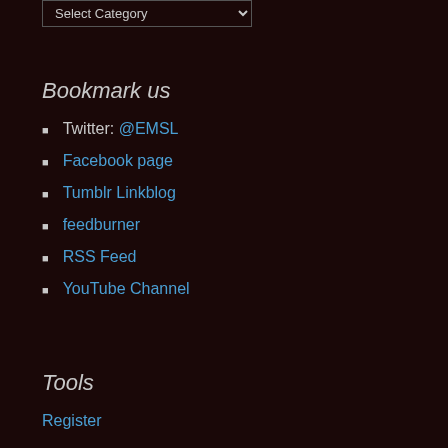[Figure (screenshot): Select Category dropdown widget]
Bookmark us
Twitter: @EMSL
Facebook page
Tumblr Linkblog
feedburner
RSS Feed
YouTube Channel
Tools
Register